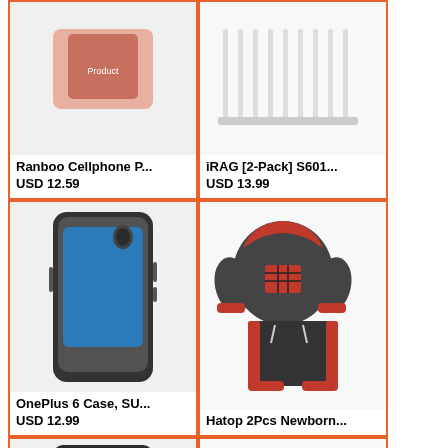[Figure (photo): Ranboo Cellphone product image (partially cropped at top)]
Ranboo Cellphone P...
USD 12.59
[Figure (photo): iRAG [2-Pack] S601 product image showing USB cables (partially cropped at top)]
iRAG [2-Pack] S601...
USD 13.99
[Figure (photo): OnePlus 6 Case phone case product image]
OnePlus 6 Case, SU...
USD 12.99
[Figure (photo): Hatop 2Pcs Newborn baby outfit set in dark grey and red plaid]
Hatop 2Pcs Newborn...
[Figure (photo): Black flip phone product image]
[Figure (photo): Brown leather wallet/purse product image]